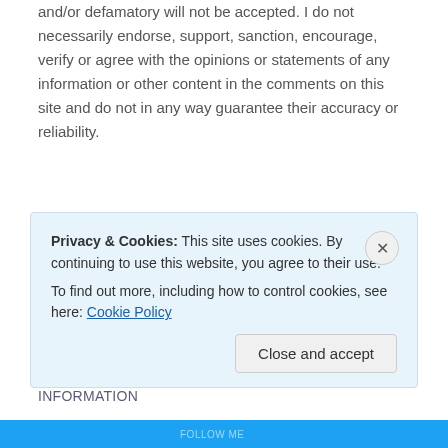and/or defamatory will not be accepted. I do not necessarily endorse, support, sanction, encourage, verify or agree with the opinions or statements of any information or other content in the comments on this site and do not in any way guarantee their accuracy or reliability.
My Facebook Page
My Twittery Things
THE POWER SPECTRUM DOES NOT CONTAIN ANY INFORMATION
Privacy & Cookies: This site uses cookies. By continuing to use this website, you agree to their use.
To find out more, including how to control cookies, see here: Cookie Policy
Close and accept